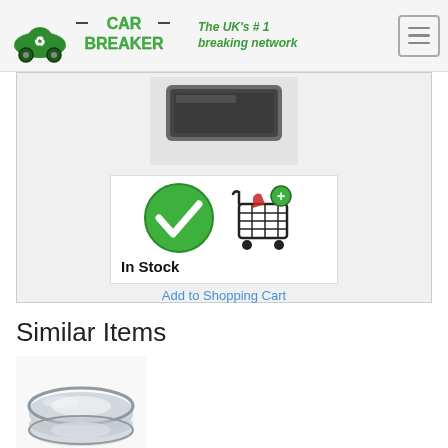[Figure (logo): Car Breaker logo with green recycling car icon, CAR BREAKER text in green, and tagline 'The UK's #1 breaking network' with hamburger menu icon]
[Figure (photo): Car part product image - dark grey/black rectangular car component]
[Figure (photo): In Stock badge with green checkmark circle and shopping cart icon]
Add to Shopping Cart
Similar Items
[Figure (photo): Metallic silver ring/washer car part - similar item thumbnail]